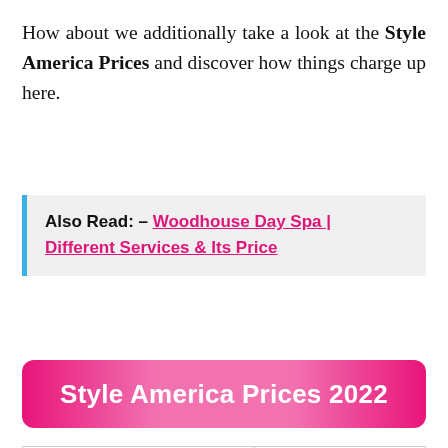How about we additionally take a look at the Style America Prices and discover how things charge up here.
Also Read:- Woodhouse Day Spa | Different Services & Its Price
Style America Prices 2022
| Service | Cost |
| --- | --- |